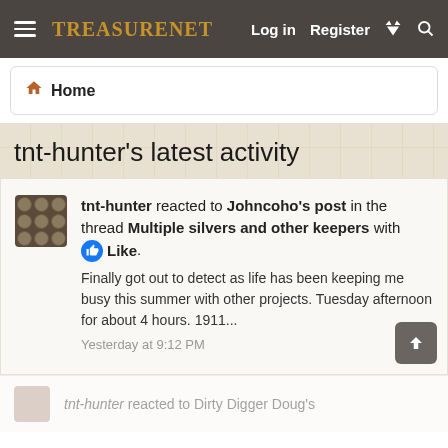TreasureNet  Log in  Register
Home
tnt-hunter's latest activity
tnt-hunter reacted to Johncoho's post in the thread Multiple silvers and other keepers with Like. Finally got out to detect as life has been keeping me busy this summer with other projects. Tuesday afternoon for about 4 hours. 1911...
Yesterday at 9:12 PM
tnt-hunter reacted to Dirty Digger Doug's